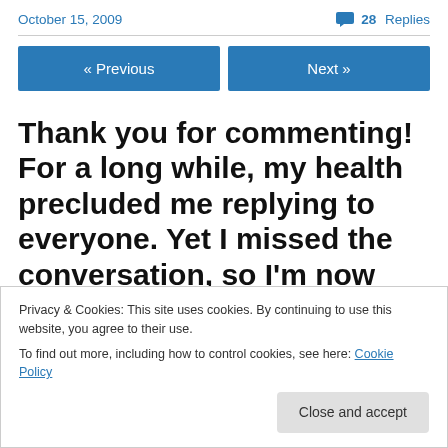October 15, 2009
💬 28 Replies
« Previous
Next »
Thank you for commenting! For a long while, my health precluded me replying to everyone. Yet I missed the conversation, so I'm now
Privacy & Cookies: This site uses cookies. By continuing to use this website, you agree to their use.
To find out more, including how to control cookies, see here: Cookie Policy
Close and accept